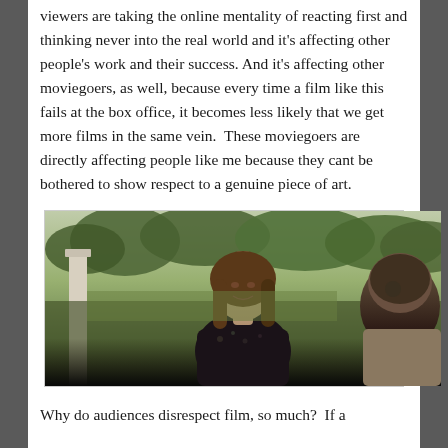viewers are taking the online mentality of reacting first and thinking never into the real world and it's affecting other people's work and their success. And it's affecting other moviegoers, as well, because every time a film like this fails at the box office, it becomes less likely that we get more films in the same vein.  These moviegoers are directly affecting people like me because they cant be bothered to show respect to a genuine piece of art.
[Figure (photo): A still from a film showing a woman with long brown hair wearing a dark floral jacket, smiling and facing another woman seen from behind, set outdoors near a white porch pillar with green trees in the background.]
Why do audiences disrespect film, so much?  If a